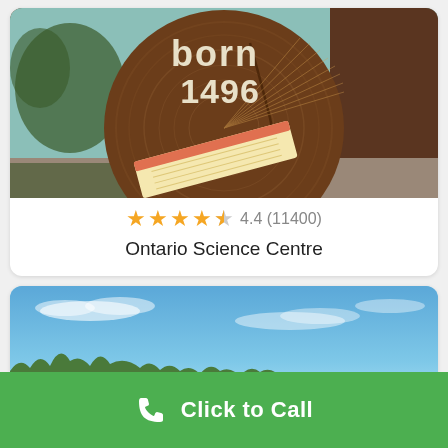[Figure (photo): Photo of a large tree cross-section/log slice display with 'born 1496' text overlay, inside an exhibit space with light blue walls. A paper booklet/brochure rests in front of the log.]
★★★★☆ 4.4 (11400)
Ontario Science Centre
[Figure (photo): Outdoor photo showing a blue sky with light wispy clouds and tree line visible at the bottom.]
Click to Call